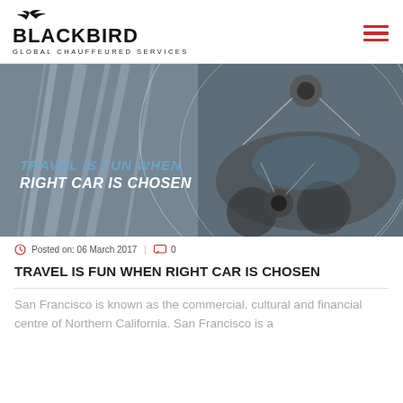BLACKBIRD GLOBAL CHAUFFEURED SERVICES
[Figure (photo): Hero banner image showing a luxury car interior/exterior with motion blur tunnel background, overlaid with large circular graphic elements and text: 'TRAVEL IS FUN WHEN / RIGHT CAR IS CHOSEN']
Posted on: 06 March 2017  |  0
TRAVEL IS FUN WHEN RIGHT CAR IS CHOSEN
San Francisco is known as the commercial, cultural and financial centre of Northern California. San Francisco is a